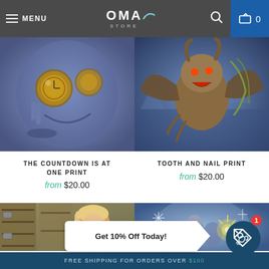MENU | OMA STORE | search | cart 0
[Figure (illustration): Fantasy illustration of a blue-skinned gnome creature wearing round clock-lens goggles, smiling mischievously]
[Figure (illustration): Fantasy illustration of a winged demon/monster with horns in a blue icy environment]
THE COUNTDOWN IS AT ONE PRINT
from $20.00
TOOTH AND NAIL PRINT
from $20.00
[Figure (illustration): Fantasy illustration of a blonde elf woman in armor near wooden doors]
[Figure (illustration): Fantasy illustration of a figure in a blue misty/snowy scene with magical energy]
Get 10% Off Today!
FREE SHIPPING FOR ORDERS OVER $100